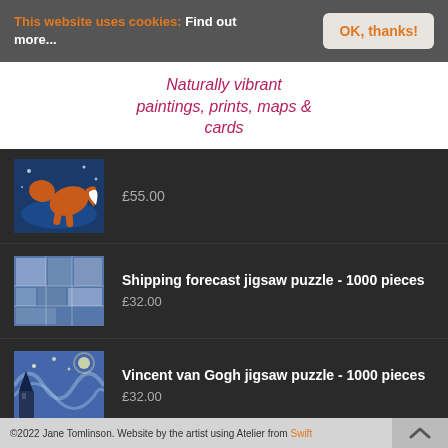This website uses cookies: Find out more...
OK, thanks!
Naturally vibrant paintings, prints, maps & cards
£55.00
Shipping forecast jigsaw puzzle - 1000 pieces
£32.00
Vincent van Gogh jigsaw puzzle - 1000 pieces
£32.00
©2022 Jane Tomlinson. Website by the artist using Atelier from Swift